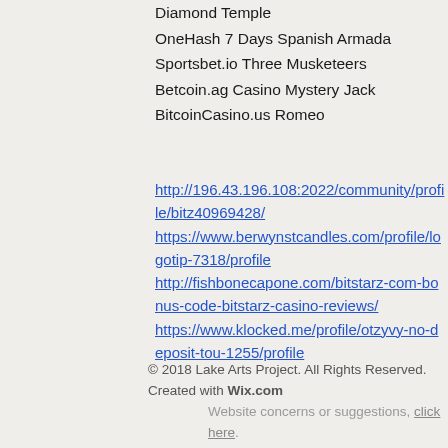Diamond Temple
OneHash 7 Days Spanish Armada
Sportsbet.io Three Musketeers
Betcoin.ag Casino Mystery Jack
BitcoinCasino.us Romeo
http://196.43.196.108:2022/community/profile/bitz40969428/
https://www.berwynstcandles.com/profile/logotip-7318/profile
http://fishbonecapone.com/bitstarz-com-bonus-code-bitstarz-casino-reviews/
https://www.klocked.me/profile/otzyvy-no-deposit-tou-1255/profile
© 2018 Lake Arts Project. All Rights Reserved. Created with Wix.com
Website concerns or suggestions, click here.